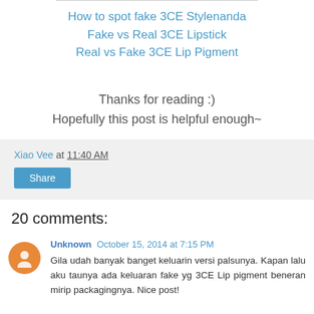How to spot fake 3CE Stylenanda
Fake vs Real 3CE Lipstick
Real vs Fake 3CE Lip Pigment
Thanks for reading :)
Hopefully this post is helpful enough~
Xiao Vee at 11:40 AM
Share
20 comments:
Unknown October 15, 2014 at 7:15 PM
Gila udah banyak banget keluarin versi palsunya. Kapan lalu aku taunya ada keluaran fake yg 3CE Lip pigment beneran mirip packagingnya. Nice post!